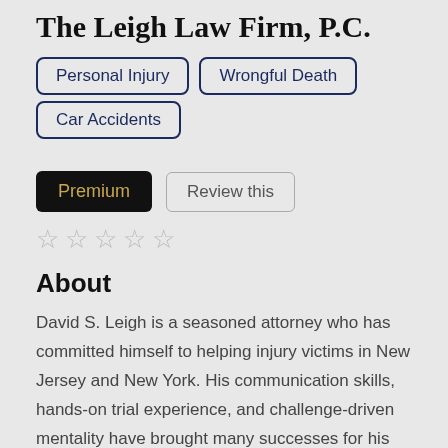The Leigh Law Firm, P.C.
Personal Injury
Wrongful Death
Car Accidents
Premium
Review this
[Figure (other): Five empty star rating icons]
About
David S. Leigh is a seasoned attorney who has committed himself to helping injury victims in New Jersey and New York. His communication skills, hands-on trial experience, and challenge-driven mentality have brought many successes for his clients.
321 Millburn Ave Suite 12, Millburn, New Jersey,